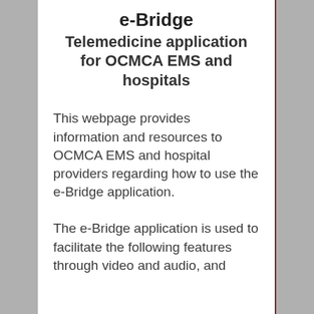e-Bridge Telemedicine application for OCMCA EMS and hospitals
This webpage provides information and resources to OCMCA EMS and hospital providers regarding how to use the e-Bridge application.
The e-Bridge application is used to facilitate the following features through video and audio, and